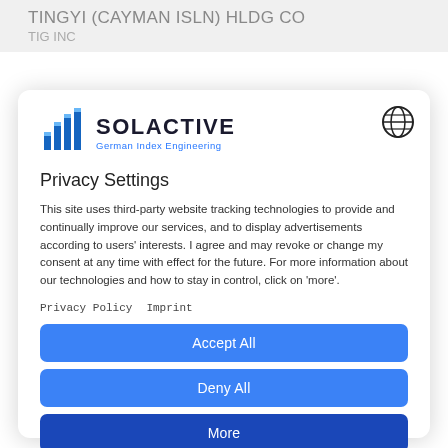TINGYI (CAYMAN ISLN) HLDG CO
TIG INC
[Figure (logo): Solactive logo with bar chart icon and tagline 'German Index Engineering']
Privacy Settings
This site uses third-party website tracking technologies to provide and continually improve our services, and to display advertisements according to users' interests. I agree and may revoke or change my consent at any time with effect for the future. For more information about our technologies and how to stay in control, click on 'more'.
Privacy Policy   Imprint
Accept All
Deny All
More
Powered by Usercentrics Consent Management